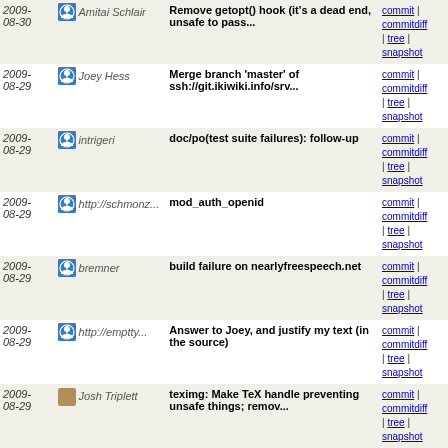| Date | Author | Message | Links |
| --- | --- | --- | --- |
| 2009-08-30 | Amitai Schlair | Remove getopt() hook (it's a dead end, unsafe to pass... | commit | commitdiff | tree | snapshot |
| 2009-08-29 | Joey Hess | Merge branch 'master' of ssh://git.ikiwiki.info/srv... | commit | commitdiff | tree | snapshot |
| 2009-08-29 | intrigeri | doc/po(test suite failures): follow-up | commit | commitdiff | tree | snapshot |
| 2009-08-29 | http://schmonz... | mod_auth_openid | commit | commitdiff | tree | snapshot |
| 2009-08-29 | bremner | build failure on nearlyfreespeech.net | commit | commitdiff | tree | snapshot |
| 2009-08-29 | http://emptty... | Answer to Joey, and justify my text (in the source) | commit | commitdiff | tree | snapshot |
| 2009-08-29 | Josh Triplett | teximg: Make TeX handle preventing unsafe things; remov... | commit | commitdiff | tree | snapshot |
| 2009-08-29 | Joey Hess | note that debian-* branches are subject to being rebased | commit | commitdiff | tree | snapshot |
| 2009-08-29 | Joey Hess | img: Don't generate new verison of image if it is scale... | commit | commitdiff | tree | snapshot |
| 2009-08-28 | Joey Hess | merged | commit | commitdiff | tree | snapshot |